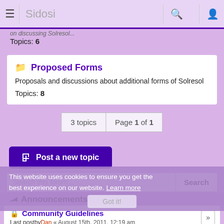Sidosi
Topics: 6
Proposed Forms — Proposals and discussions about additional forms of Solresol — Topics: 8
3 topics   Page 1 of 1
Post a new topic
Search this forum... Search
This website uses cookies to ensure you get the best experience on our website. Learn more
Announcements
Community Guidelines — Last post by Dan « August 15th, 2011, 12:19 am